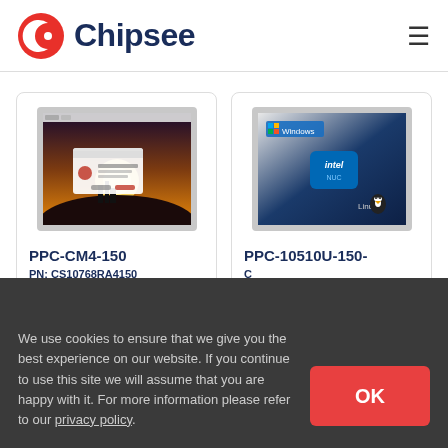[Figure (logo): Chipsee logo: red circular icon with white crescent/chip graphic, followed by bold dark navy text 'Chipsee']
[Figure (screenshot): Panel PC product image: monitor frame (grey bezel) showing a desktop screenshot with a sunset landscape and a popup dialog, Raspberry Pi related. Product: PPC-CM4-150]
PPC-CM4-150
PN: CS10768RA4150
[Figure (screenshot): Panel PC product image: monitor frame (grey bezel) showing a Windows + Intel + Linux branded screen in blue tones. Product: PPC-10510U-150-C]
PPC-10510U-150-C
We use cookies to ensure that we give you the best experience on our website. If you continue to use this site we will assume that you are happy with it. For more information please refer to our privacy policy.